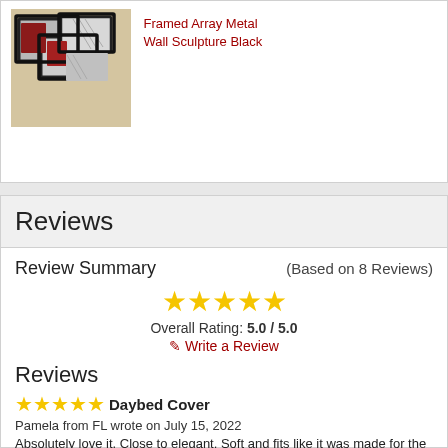[Figure (photo): Framed Array Metal Wall Sculpture product image showing abstract black-framed geometric wall art with red and silver metallic elements on a beige background]
Framed Array Metal Wall Sculpture Black
Reviews
Review Summary
(Based on 8 Reviews)
[Figure (other): Five gold stars rating display]
Overall Rating: 5.0 / 5.0
✏ Write a Review
Reviews
Daybed Cover
Pamela from FL wrote on July 15, 2022
Absolutely love it. Close to elegant. Soft and fits like it was made for the daybed.